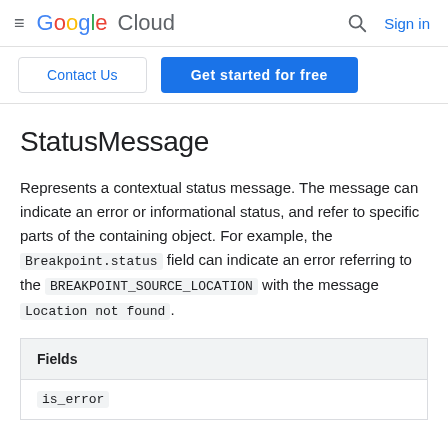≡ Google Cloud | 🔍 Sign in
Contact Us | Get started for free
StatusMessage
Represents a contextual status message. The message can indicate an error or informational status, and refer to specific parts of the containing object. For example, the Breakpoint.status field can indicate an error referring to the BREAKPOINT_SOURCE_LOCATION with the message Location not found.
| Fields |
| --- |
| is_error |